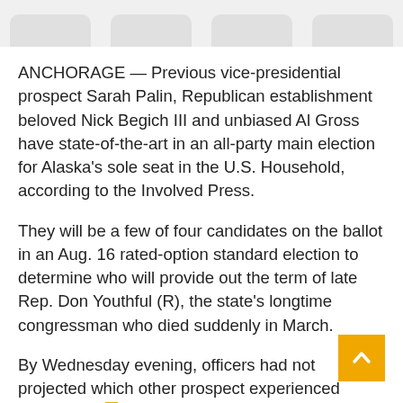ANCHORAGE — Previous vice-presidential prospect Sarah Palin, Republican establishment beloved Nick Begich III and unbiased Al Gross have state-of-the-art in an all-party main election for Alaska's sole seat in the U.S. Household, according to the Involved Press.
They will be a few of four candidates on the ballot in an Aug. 16 rated-option standard election to determine who will provide out the term of late Rep. Don Youthful (R), the state's longtime congressman who died suddenly in March.
By Wednesday evening, officers had not projected which other prospect experienced gained ample votes to make it to the major 4 and for that reason progress to the basic election.